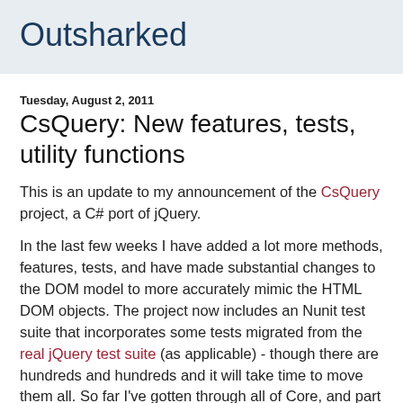Outsharked
Tuesday, August 2, 2011
CsQuery: New features, tests, utility functions
This is an update to my announcement of the CsQuery project, a C# port of jQuery.
In the last few weeks I have added a lot more methods, features, tests, and have made substantial changes to the DOM model to more accurately mimic the HTML DOM objects. The project now includes an Nunit test suite that incorporates some tests migrated from the real jQuery test suite (as applicable) - though there are hundreds and hundreds and it will take time to move them all. So far I've gotten through all of Core, and part of Attribute and Traversal. There are a lot more to go. But I have been